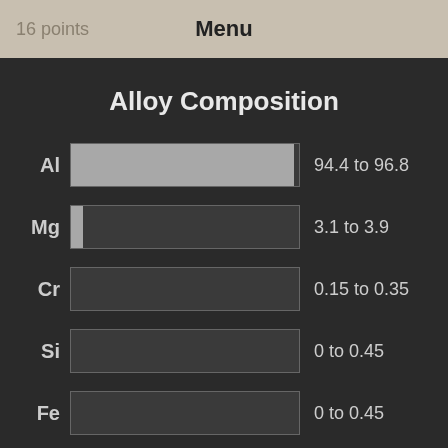16 points   Menu
Alloy Composition
[Figure (bar-chart): Alloy Composition]